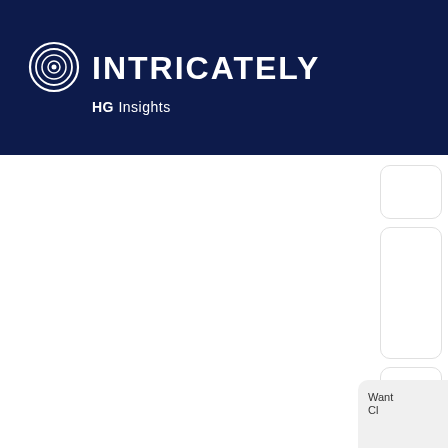[Figure (logo): Intricately HG Insights logo on dark navy background header. Circular target/spiral icon on the left, followed by 'INTRICATELY' in bold white uppercase letters, with 'HG Insights' subtitle below in white (HG bold, Insights regular).]
Want
Cl...